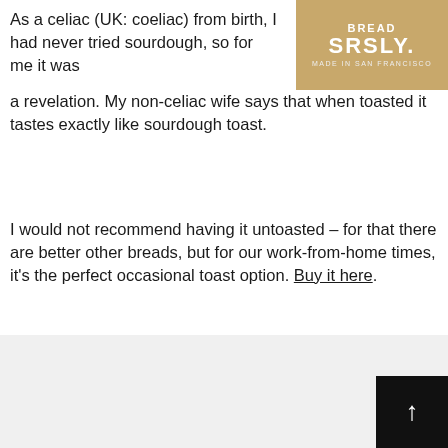As a celiac (UK: coeliac) from birth, I had never tried sourdough, so for me it was a revelation. My non-celiac wife says that when toasted it tastes exactly like sourdough toast.
[Figure (photo): Product packaging for SRSLY bread, Made in San Francisco, brown/tan colored bag with white text]
I would not recommend having it untoasted – for that there are better other breads, but for our work-from-home times, it's the perfect occasional toast option. Buy it here.
Star icon made by Smashicons from www.flaticon.com